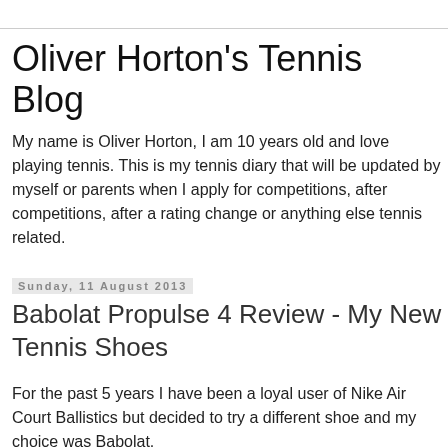Oliver Horton's Tennis Blog
My name is Oliver Horton, I am 10 years old and love playing tennis. This is my tennis diary that will be updated by myself or parents when I apply for competitions, after competitions, after a rating change or anything else tennis related.
Sunday, 11 August 2013
Babolat Propulse 4 Review - My New Tennis Shoes
For the past 5 years I have been a loyal user of Nike Air Court Ballistics but decided to try a different shoe and my choice was Babolat.
The reason for my change was down to the parent of another competitor at a tennis competition who suggested